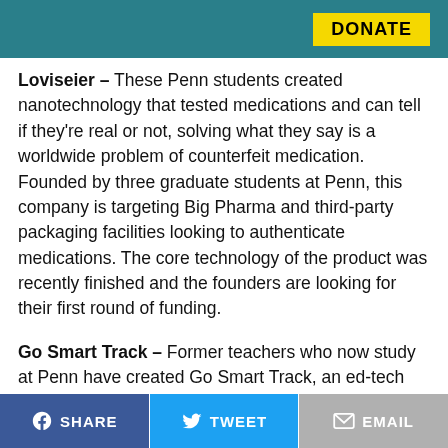[Figure (other): Teal/dark green banner with a yellow DONATE button on the right]
Loviseier – These Penn students created nanotechnology that tested medications and can tell if they're real or not, solving what they say is a worldwide problem of counterfeit medication. Founded by three graduate students at Penn, this company is targeting Big Pharma and third-party packaging facilities looking to authenticate medications. The core technology of the product was recently finished and the founders are looking for their first round of funding.
Go Smart Track – Former teachers who now study at Penn have created Go Smart Track, an ed-tech company that works to reduce loss for schools. The app scans barcodes and numbers and inventories products so that schools can track what happens to books, technology,
SHARE   TWEET   EMAIL